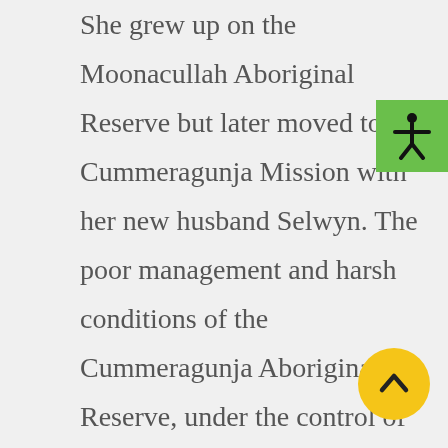She grew up on the Moonacullah Aboriginal Reserve but later moved to Cummeragunja Mission with her new husband Selwyn. The poor management and harsh conditions of the Cummeragunja Aboriginal Reserve, under the control of the NSW Aborigines Protection Board, caused families to revolt. The Briggs family was involved in the ‘Cummeragunja Walk Off’ in 1939. In 1970 she was the Victorian State Secretary of FCAATSI. In 1972, she became the first President of the National Aboriginal and Islander Women’s
[Figure (other): Green accessibility icon button in top-right corner showing a human figure with arms outstretched]
[Figure (other): Yellow circular scroll-to-top button with upward chevron arrow in bottom-right corner]